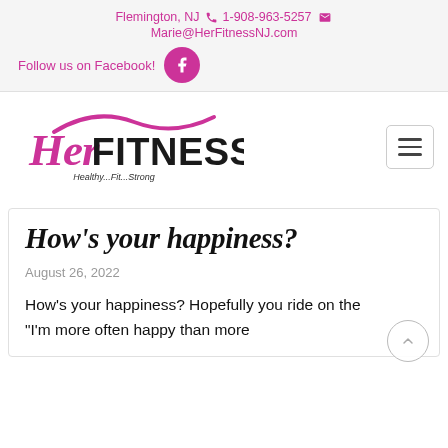Flemington, NJ  1-908-963-5257  Marie@HerFitnessNJ.com  Follow us on Facebook!
[Figure (logo): Her FITNESS logo with tagline Healthy...Fit...Strong and hamburger menu icon]
How's your happiness?
August 26, 2022
How's your happiness? Hopefully you ride on the "I'm more often happy than more